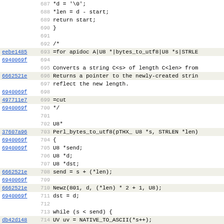Source code viewer with git blame information showing lines 687-718 of a C/Perl source file (utf8.c or similar), with commit hashes, line numbers, and code content.
| hash | line | code |
| --- | --- | --- |
| JH | 687 |     *d = '\0'; |
|  | 688 |     *len = d - start; |
|  | 689 |     return start; |
|  | 690 | } |
|  | 691 |  |
|  | 692 | /* |
| eebe1485 | 693 | =for apidoc A|U8 *|bytes_to_utf8|U8 *s|STRLE |
| 6940069f | 694 |  |
| GS | 695 | Converts a string C<s> of length C<len> from |
| 6662521e | 696 | Returns a pointer to the newly-created strin |
| GS | 697 | reflect the new length. |
| 6940069f | 698 |  |
| 497711e7 | 699 | =cut |
| 6940069f | 700 | */ |
| GS | 701 |  |
|  | 702 | U8* |
| 37607a96 | 703 | Perl_bytes_to_utf8(pTHX_ U8 *s, STRLEN *len) |
| 6940069f | 704 | { |
| 6940069f | 705 |     U8 *send; |
| GS | 706 |     U8 *d; |
|  | 707 |     U8 *dst; |
| 6662521e | 708 |     send = s + (*len); |
| 6940069f | 709 |  |
| 6662521e | 710 |     Newz(801, d, (*len) * 2 + 1, U8); |
| 6940069f | 711 |     dst = d; |
| GS | 712 |  |
|  | 713 |     while (s < send) { |
| db42d148 | 714 |         UV uv = NATIVE_TO_ASCII(*s++); |
| c4d5f83a | 715 |         if (UNI_IS_INVARIANT(uv)) |
| NIS | 716 |             *d++ = UTF_TO_NATIVE(uv); |
| 6940069f | 717 |     else { |
| 90f44359 | 718 |             *d++ = UTF8_EIGHT_BIT_HI(uv); |